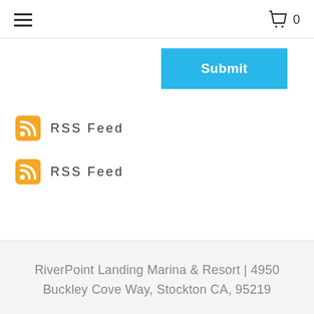≡  🛒 0
Submit
RSS Feed
RSS Feed
RiverPoint Landing Marina & Resort | 4950 Buckley Cove Way, Stockton CA, 95219